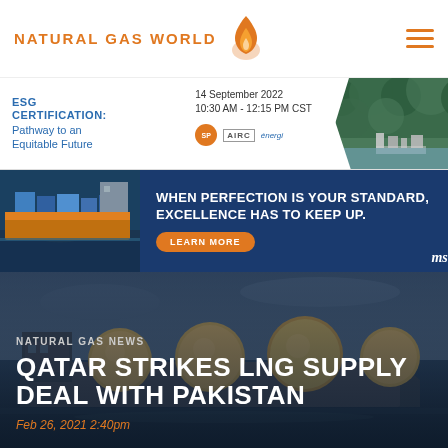NATURAL GAS WORLD
[Figure (infographic): ESG Certification: Pathway to an Equitable Future banner ad. Date: 14 September 2022, 10:30 AM - 12:15 PM CST. Logos: circular orange logo, AIRC, energie. Right side shows aerial photo of natural gas facility in forested landscape.]
[Figure (infographic): MSC advertisement banner. Left: LNG tanker ship on water. Text: WHEN PERFECTION IS YOUR STANDARD, EXCELLENCE HAS TO KEEP UP. Orange LEARN MORE button. MSC logo bottom right.]
[Figure (photo): Large LNG carrier ship on water at dusk/dawn with dark sky. Spherical LNG storage tanks visible on ship.]
NATURAL GAS NEWS
QATAR STRIKES LNG SUPPLY DEAL WITH PAKISTAN
Feb 26, 2021 2:40pm